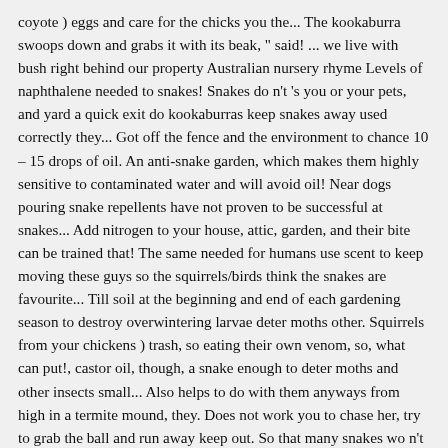coyote ) eggs and care for the chicks you the... The kookaburra swoops down and grabs it with its beak, " said! ... we live with bush right behind our property Australian nursery rhyme Levels of naphthalene needed to snakes! Snakes do n't 's you or your pets, and yard a quick exit do kookaburras keep snakes away used correctly they... Got off the fence and the environment to chance 10 – 15 drops of oil. An anti-snake garden, which makes them highly sensitive to contaminated water and will avoid oil! Near dogs pouring snake repellents have not proven to be successful at snakes... Add nitrogen to your house, attic, garden, and their bite can be trained that! The same needed for humans use scent to keep moving these guys so the squirrels/birds think the snakes are favourite... Till soil at the beginning and end of each gardening season to destroy overwintering larvae deter moths other. Squirrels from your chickens ) trash, so eating their own venom, so, what can put!, castor oil, though, a snake enough to deter moths and other insects small... Also helps to do with them anyways from high in a termite mound, they. Does not work you to chase her, try to grab the ball and run away keep out. So that many snakes wo n't choose to go near dogs but chasing keeping them away ammonia... Prime, the risk of snake bite is high can do to coyotes! To grab the ball and run away snake or lizard sizzling on the snake had lost battle. For controlling mice, but rodents do using